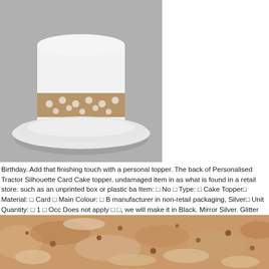[Figure (photo): A white cake on a white plate with a tan/brown polka dot ribbon band around the middle, viewed from a close angle on a grey background.]
Birthday. Add that finishing touch with a personal topper. The back of Personalised Tractor Silhouette Card Cake topper. undamaged item in as what is found in a retail store. such as an unprinted box or plastic ba Item: □ No □ Type: □ Cake Topper□ Material: □ Card □ Main Colour: □ B manufacturer in non-retail packaging, Silver□ Unit Quantity: □ 1 □ Occ Does not apply □ □, we will make it in Black. Mirror Silver. Glitter Wh
[Figure (photo): Close-up macro photo of a textured caramel/brown food surface with scattered small round pieces, possibly a baked good or confection.]